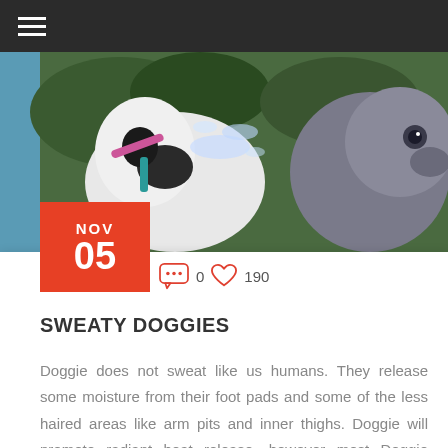Navigation bar with hamburger menu
[Figure (photo): Two dogs drinking water outdoors, one black and white dog and one grey dog, with water splashing]
NOV 05
0   190
SWEATY DOGGIES
Doggie does not sweat like us humans. They release some moisture from their foot pads and some of the less haired areas like arm pits and inner thighs. Doggie will promote radiant heat release, however most Doggie cooling is by panting, which is in the form of water vapor going